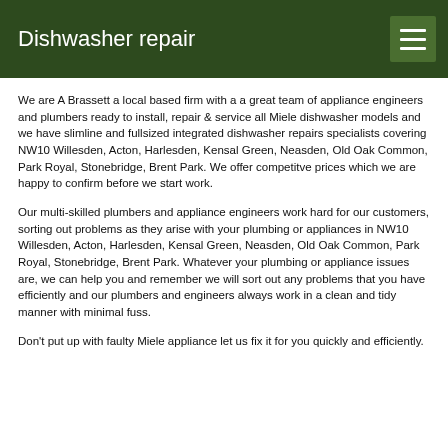Dishwasher repair
We are A Brassett a local based firm with a a great team of appliance engineers and plumbers ready to install, repair & service all Miele dishwasher models and we have slimline and fullsized integrated dishwasher repairs specialists covering NW10 Willesden, Acton, Harlesden, Kensal Green, Neasden, Old Oak Common, Park Royal, Stonebridge, Brent Park. We offer competitve prices which we are happy to confirm before we start work.
Our multi-skilled plumbers and appliance engineers work hard for our customers, sorting out problems as they arise with your plumbing or appliances in NW10 Willesden, Acton, Harlesden, Kensal Green, Neasden, Old Oak Common, Park Royal, Stonebridge, Brent Park. Whatever your plumbing or appliance issues are, we can help you and remember we will sort out any problems that you have efficiently and our plumbers and engineers always work in a clean and tidy manner with minimal fuss.
Don't put up with faulty Miele appliance let us fix it for you quickly and efficiently.